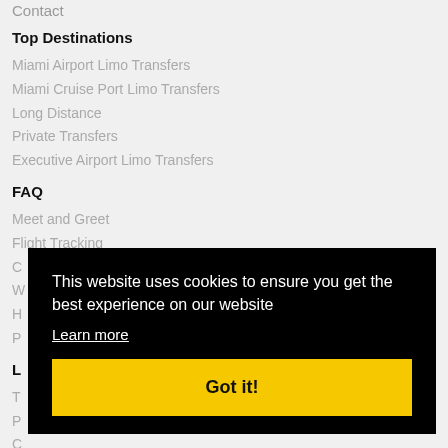Contact
Top Destinations
Miami Airport Limo Transfers
Miami Cruise Port Limo Transfers
Long Distance
Private Transfers
Executive Airport Limo Transfers
FAQ
Meet and Greet
Flight Tracking
[Figure (screenshot): Cookie consent modal overlay on black background with text 'This website uses cookies to ensure you get the best experience on our website', a 'Learn more' underlined link, and a yellow 'Got it!' button.]
Delivery Policy